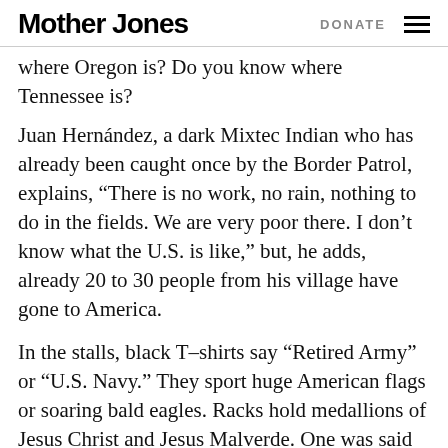Mother Jones | DONATE
where Oregon is? Do you know where Tennessee is?
Juan Hernández, a dark Mixtec Indian who has already been caught once by the Border Patrol, explains, “There is no work, no rain, nothing to do in the fields. We are very poor there. I don’t know what the U.S. is like,” but, he adds, already 20 to 30 people from his village have gone to America.
In the stalls, black T-shirts say “Retired Army” or “U.S. Navy.” They sport huge American flags or soaring bald eagles. Racks hold medallions of Jesus Christ and Jesus Malverde. One was said to be a carpenter, the other a bandit hung in Culiacán, Sinaloa, in 1909 and now a favored santo of the